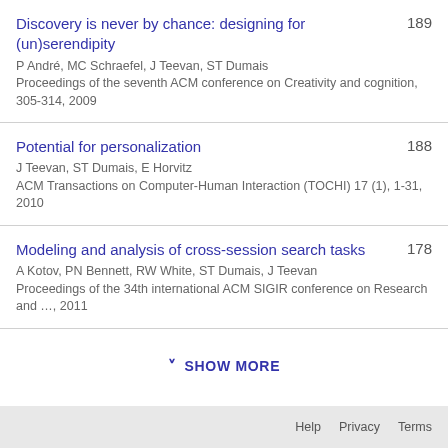Discovery is never by chance: designing for (un)serendipity
P André, MC Schraefel, J Teevan, ST Dumais
Proceedings of the seventh ACM conference on Creativity and cognition, 305-314, 2009
189
Potential for personalization
J Teevan, ST Dumais, E Horvitz
ACM Transactions on Computer-Human Interaction (TOCHI) 17 (1), 1-31, 2010
188
Modeling and analysis of cross-session search tasks
A Kotov, PN Bennett, RW White, ST Dumais, J Teevan
Proceedings of the 34th international ACM SIGIR conference on Research and …, 2011
178
SHOW MORE
Help   Privacy   Terms